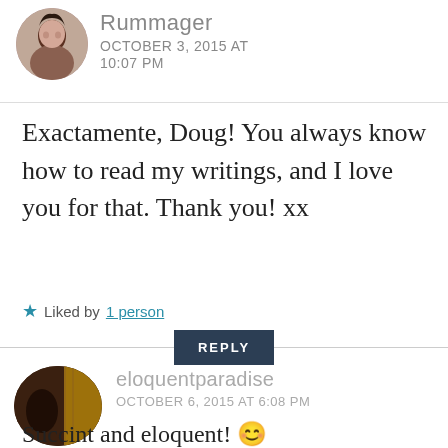[Figure (photo): Circular avatar photo of a woman with dark hair]
Rummager
OCTOBER 3, 2015 AT
10:07 PM
Exactamente, Doug! You always know how to read my writings, and I love you for that. Thank you! xx
★ Liked by 1 person
REPLY
[Figure (photo): Circular avatar photo showing a person in front of vanity lights]
eloquentparadise
OCTOBER 6, 2015 AT 6:08 PM
Succint and eloquent! 😊